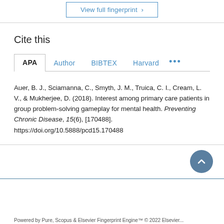[Figure (other): View full fingerprint button with right arrow, blue outlined rectangular button]
Cite this
APA  Author  BIBTEX  Harvard  ...
Auer, B. J., Sciamanna, C., Smyth, J. M., Truica, C. I., Cream, L. V., & Mukherjee, D. (2018). Interest among primary care patients in group problem-solving gameplay for mental health. Preventing Chronic Disease, 15(6), [170488]. https://doi.org/10.5888/pcd15.170488
[Figure (other): Scroll-to-top circular button with upward chevron arrow, dark blue/grey background]